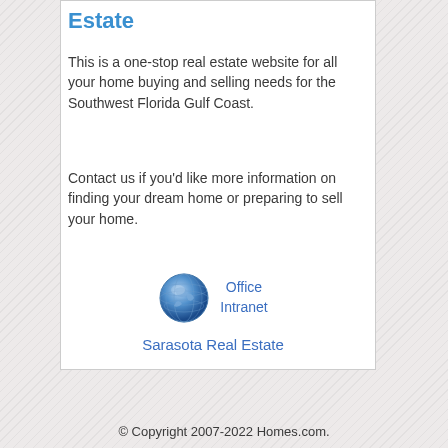Estate
This is a one-stop real estate website for all your home buying and selling needs for the Southwest Florida Gulf Coast.
Contact us if you'd like more information on finding your dream home or preparing to sell your home.
[Figure (logo): Globe icon representing Office Intranet link with text 'Office Intranet' next to it]
Sarasota Real Estate
© Copyright 2007-2022 Homes.com.